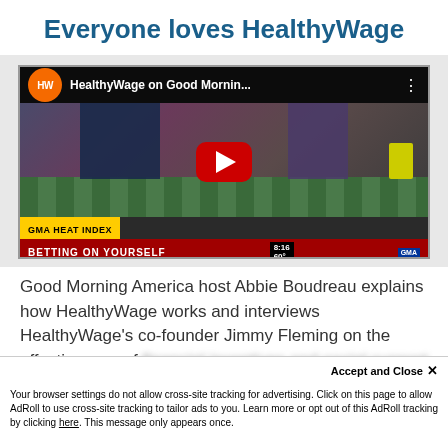Everyone loves HealthyWage
[Figure (screenshot): YouTube video thumbnail showing HealthyWage on Good Morning America. Features a gym scene with people exercising. GMA Heat Index banner at bottom reading 'BETTING ON YOURSELF'. Orange HW logo in top left corner with red YouTube play button in center.]
Good Morning America host Abbie Boudreau explains how HealthyWage works and interviews HealthyWage's co-founder Jimmy Fleming on the effectiveness of financial incentives and social support...
Accept and Close ×
Your browser settings do not allow cross-site tracking for advertising. Click on this page to allow AdRoll to use cross-site tracking to tailor ads to you. Learn more or opt out of this AdRoll tracking by clicking here. This message only appears once.